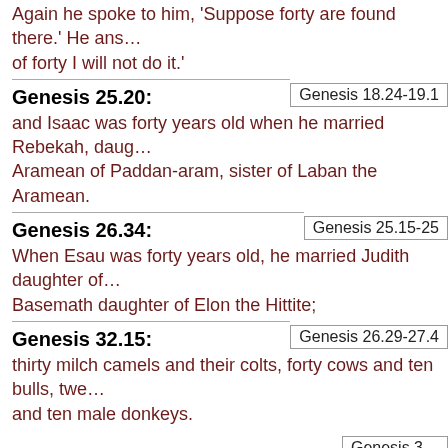Again he spoke to him, 'Suppose forty are found there.' He answered, 'For the sake of forty I will not do it.'
Genesis 18.24-19.1
Genesis 25.20:
and Isaac was forty years old when he married Rebekah, daughter of Bethuel the Aramean of Paddan-aram, sister of Laban the Aramean.
Genesis 25.15-25
Genesis 26.34:
When Esau was forty years old, he married Judith daughter of Beeri the Hittite and Basemath daughter of Elon the Hittite;
Genesis 26.29-27.4
Genesis 32.15:
thirty milch camels and their colts, forty cows and ten bulls, twenty female donkeys and ten male donkeys.